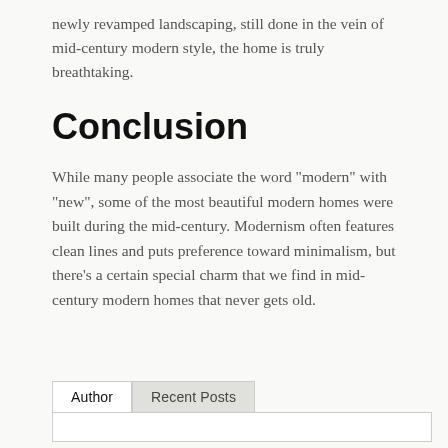newly revamped landscaping, still done in the vein of mid-century modern style, the home is truly breathtaking.
Conclusion
While many people associate the word "modern" with "new", some of the most beautiful modern homes were built during the mid-century. Modernism often features clean lines and puts preference toward minimalism, but there's a certain special charm that we find in mid-century modern homes that never gets old.